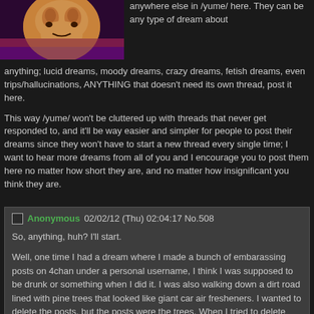[Figure (photo): Dark stylized avatar/character image with purple background]
anywhere else in /yume/ here. They can be any type of dream about anything; lucid dreams, moody dreams, crazy dreams, fetish dreams, even trips/hallucinations, ANYTHING that doesn't need its own thread, post it here.
This way /yume/ won't be cluttered up with threads that never get responded to, and it'll be way easier and simpler for people to post their dreams since they won't have to start a new thread every single time; I want to hear more dreams from all of you and I encourage you to post them here no matter how short they are, and no matter how insignificant you think they are.
Anonymous 02/02/12 (Thu) 02:04:17 No.508
So, anything, huh? I'll start.
Well, one time I had a dream where I made a bunch of embarassing posts on 4chan under a personal username, I think I was supposed to be drunk or something when I did it. I was also walking down a dirt road lined with pine trees that looked like giant car air fresheners. I wanted to delete the posts, but the posts were the trees. When I tried to delete them, they kept getting farther and farther away from me.
Anonymous 02/07/12 (Tue) 14:11:37 No.518